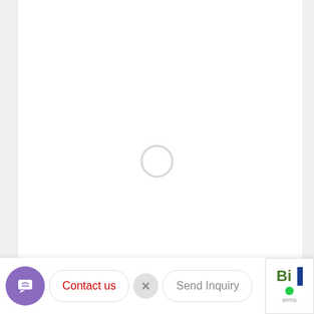[Figure (screenshot): White content panel with a loading spinner circle in the center]
[Figure (screenshot): Bottom UI bar with: purple chat button, red 'Contact us' pill, grey X close button, grey 'Send Inquiry' pill, and a Bi logo widget in bottom-right corner with erms text]